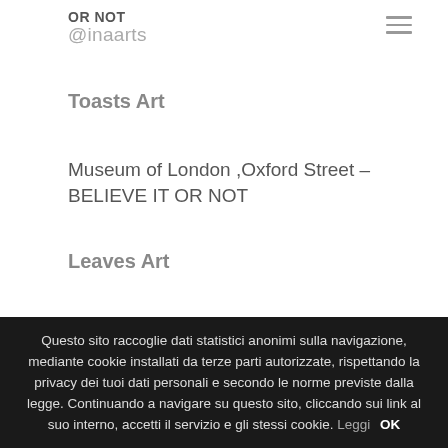OR NOT @inaarts
Toasts Art
Museum of London ,Oxford Street – BELIEVE IT OR NOT
Leaves Art
By Adrian Lewis
Questo sito raccoglie dati statistici anonimi sulla navigazione, mediante cookie installati da terze parti autorizzate, rispettando la privacy dei tuoi dati personali e secondo le norme previste dalla legge. Continuando a navigare su questo sito, cliccando sui link al suo interno, accetti il servizio e gli stessi cookie. Leggi OK